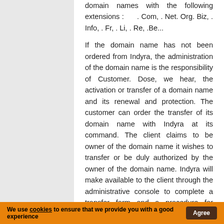domain names with the following extensions : . Com, . Net. Org. Biz, . Info, . Fr, . Li, . Re, .Be...
If the domain name has not been ordered from Indyra, the administration of the domain name is the responsibility of Customer. Dose, we hear, the activation or transfer of a domain name and its renewal and protection. The customer can order the transfer of its domain name with Indyra at its command. The client claims to be owner of the domain name it wishes to transfer or be duly authorized by the owner of the domain name. Indyra will make available to the client through the administrative console to complete a transfer form and a procedure for authorizing the transfer from the previous
We use cookies to ensure that we provide you with a good experience  Agree